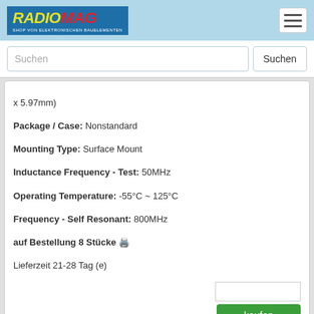RADIOMAG - SHOP VON ELEKTRONISCHEN BAUELEMENTEN
Suchen
x 5.97mm)
Package / Case: Nonstandard
Mounting Type: Surface Mount
Inductance Frequency - Test: 50MHz
Operating Temperature: -55°C ~ 125°C
Frequency - Self Resonant: 800MHz
auf Bestellung 8 Stücke
Lieferzeit 21-28 Tag (e)
5526R-6
Hersteller: API Delevan Inc.
Description: FIXED IND 222NH 3A SMD
Q @ Freq: 92 @ 50MHz
Height - Seated (Max): 0.250" (6.35mm)
Size / Dimension: 0.420" L x 0.235" W (10.67mm x 5.97mm)
Package / Case: Nonstandard
Mounting Type: Surface Mount
Inductance Frequency - Test: 50MHz
Operating Temperature: -55°C ~ 125°C